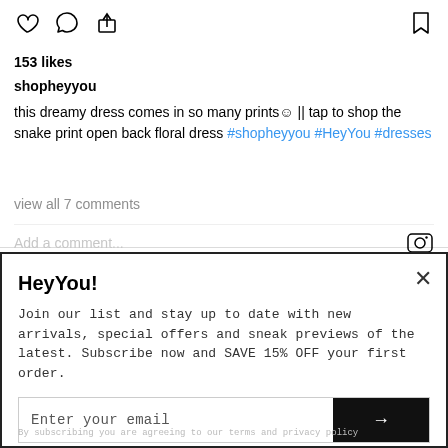[Figure (screenshot): Instagram post action icons: heart, comment bubble, share arrow on left; bookmark on right]
153 likes
shopheyyou
this dreamy dress comes in so many prints☺ || tap to shop the snake print open back floral dress #shopheyyou #HeyYou #dresses
view all 7 comments
Add a comment...
HeyYou!
Join our list and stay up to date with new arrivals, special offers and sneak previews of the latest. Subscribe now and SAVE 15% OFF your first order.
Enter your email